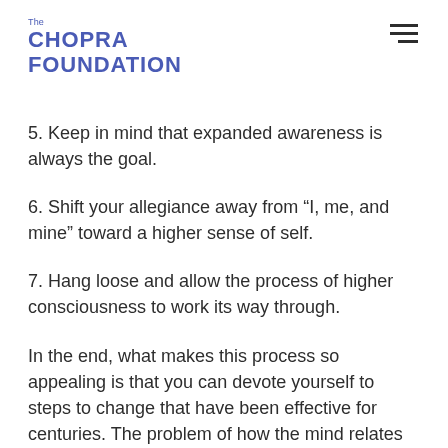The CHOPRA FOUNDATION
5. Keep in mind that expanded awareness is always the goal.
6. Shift your allegiance away from “I, me, and mine” toward a higher sense of self.
7. Hang loose and allow the process of higher consciousness to work its way through.
In the end, what makes this process so appealing is that you can devote yourself to steps to change that have been effective for centuries. The problem of how the mind relates to the brain doesn’t have to be answered–there’s little chance